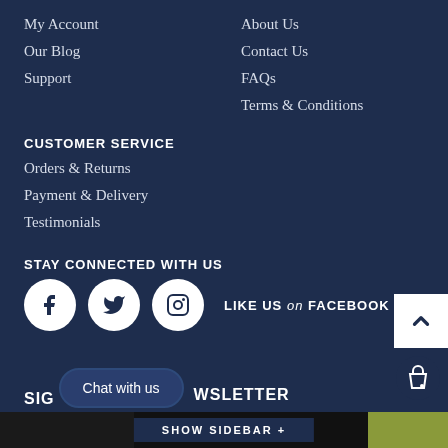My Account
Our Blog
Support
About Us
Contact Us
FAQs
Terms & Conditions
CUSTOMER SERVICE
Orders & Returns
Payment & Delivery
Testimonials
STAY CONNECTED WITH US
LIKE US on FACEBOOK
SIC
Chat with us
WSLETTER
SHOW SIDEBAR +